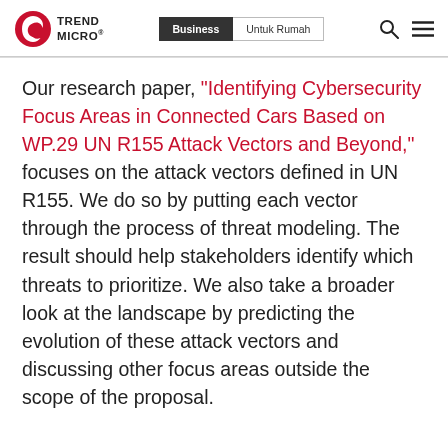Trend Micro | Business | Untuk Rumah
Our research paper, “Identifying Cybersecurity Focus Areas in Connected Cars Based on WP.29 UN R155 Attack Vectors and Beyond,” focuses on the attack vectors defined in UN R155. We do so by putting each vector through the process of threat modeling. The result should help stakeholders identify which threats to prioritize. We also take a broader look at the landscape by predicting the evolution of these attack vectors and discussing other focus areas outside the scope of the proposal.